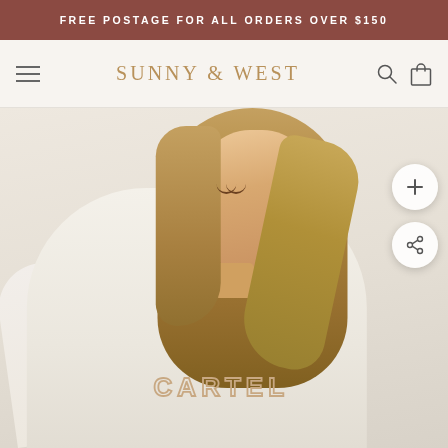FREE POSTAGE FOR ALL ORDERS OVER $150
SUNNY & WEST
[Figure (photo): A blonde woman wearing a cream-colored sweatshirt with 'CARTEL' printed on the chest, photographed against a light cream/beige background. The photo is a product image for an online clothing store called Sunny & West.]